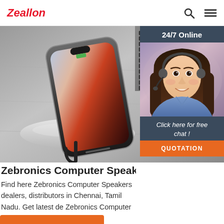Zeallon
[Figure (photo): Hero image showing an iPhone on a wireless charging pad, with a laptop keyboard visible in the background on the right. Black and white/gray tones for the scene.]
[Figure (photo): 24/7 Online chat widget showing a female customer service agent wearing a headset and smiling, with a 'Click here for free chat!' prompt and an orange QUOTATION button.]
Zebronics Computer Speakers in Chennai - B
Find here Zebronics Computer Speakers dealers, distributors in Chennai, Tamil Nadu. Get latest de Zebronics Computer Speakers, Zebronics Speaker & wholesale prices in Chennai, Tamil Nadu
Get Price